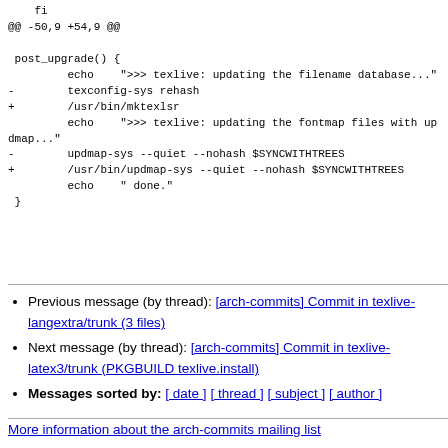fi
@@ -50,9 +54,9 @@

 post_upgrade() {
         echo    ">>> texlive: updating the filename database..."
-        texconfig-sys rehash
+        /usr/bin/mktexlsr
         echo    ">>> texlive: updating the fontmap files with updmap..."
-        updmap-sys --quiet --nohash $SYNCWITHTREES
+        /usr/bin/updmap-sys --quiet --nohash $SYNCWITHTREES
         echo    " done."
 }
Previous message (by thread): [arch-commits] Commit in texlive-langextra/trunk (3 files)
Next message (by thread): [arch-commits] Commit in texlive-latex3/trunk (PKGBUILD texlive.install)
Messages sorted by: [ date ] [ thread ] [ subject ] [ author ]
More information about the arch-commits mailing list